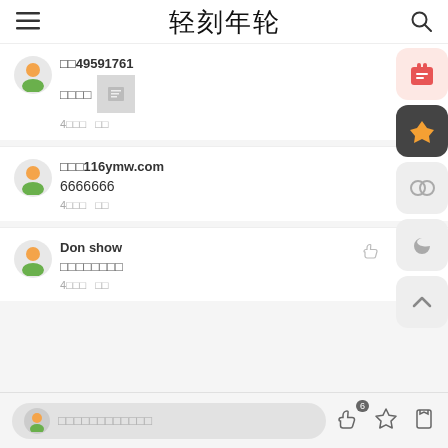轻刻年轮
□□49591761
□□□□ [image]
4□□□   □□
□□□116ymw.com
6666666
4□□□   □□
Don show
□□□□□□□□
4□□□   □□
□□□□□□□□□□□□